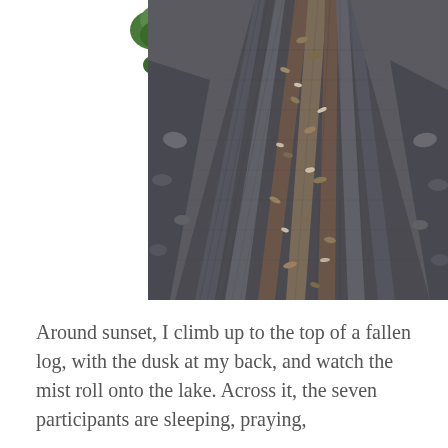[Figure (photo): A close-up photograph taken from above looking along the length of a large fallen log or rock formation with striations/grain patterns running lengthwise, surrounded by green mossy vegetation and rocks on either side.]
Around sunset, I climb up to the top of a fallen log, with the dusk at my back, and watch the mist roll onto the lake. Across it, the seven participants are sleeping, praying,